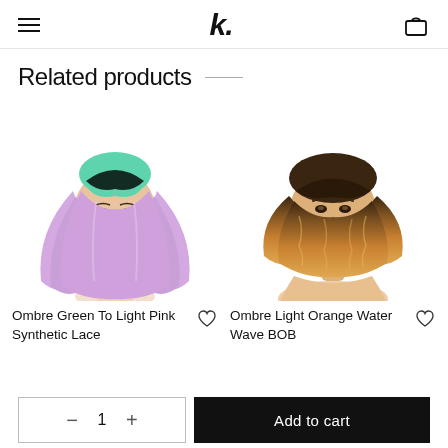Navigation header with hamburger menu, logo 'k.', and cart icon
Related products
[Figure (photo): Mannequin head wearing an ombre green to light pink synthetic lace wig with long wavy curls]
Ombre Green To Light Pink Synthetic Lace
[Figure (photo): Mannequin head wearing an ombre light orange water wave BOB wig]
Ombre Light Orange Water Wave BOB
— 1 +   Add to cart